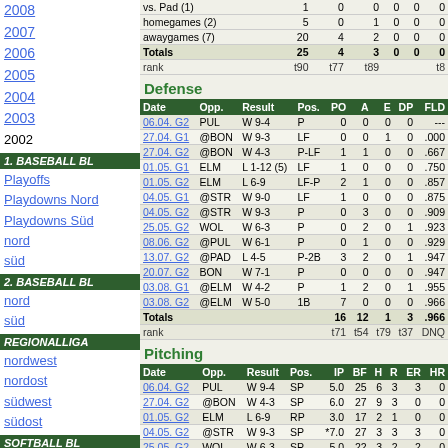2008
2007
2006
2005
2004
2003
2002
1. BASEBALL BL
Playoffs
Playdowns Nord
Playdowns Süd
nord
süd
2. BASEBALL BL
nord
süd
REGIONALLIGA
nordwest
nordost
südwest
südost
SOFTBALL BL
nord
süd
|  |  |  | 1 | 0 | 0 | 0 | 0 | 0 |
| --- | --- | --- | --- | --- | --- | --- | --- | --- |
| vs. Pad (1) |  |  | 1 | 0 | 0 | 0 | 0 | 0 |
| homegames (2) |  |  | 5 | 0 | 1 | 0 | 0 | 0 |
| awaygames (7) |  |  | 20 | 4 | 2 | 0 | 0 | 0 |
| Totals |  |  | 25 | 4 | 3 | 0 | 0 | 0 |
| rank |  |  | t90 | t77 | t89 |  |  | t8 |
Defense
| Date | Opp. | Result | Pos. | PO | A | E | DP | FLD |
| --- | --- | --- | --- | --- | --- | --- | --- | --- |
| 06.04. G2 | PUL | W 9-4 | P | 0 | 0 | 0 | 0 | --- |
| 27.04. G1 | @BON | W 9-3 | LF | 0 | 0 | 1 | 0 | .000 |
| 27.04. G2 | @BON | W 4-3 | P-LF | 1 | 1 | 0 | 0 | .667 |
| 01.05. G1 | ELM | L 1-12 (5) | LF | 1 | 0 | 0 | 0 | .750 |
| 01.05. G2 | ELM | L 6-9 | LF-P | 2 | 1 | 0 | 0 | .857 |
| 04.05. G1 | @STR | W 9-0 | LF | 1 | 0 | 0 | 0 | .875 |
| 04.05. G2 | @STR | W 9-3 | P | 0 | 3 | 0 | 0 | .909 |
| 25.05. G2 | WOL | W 6-3 | P | 0 | 2 | 0 | 1 | .923 |
| 08.06. G2 | @PUL | W 6-1 | P | 0 | 1 | 0 | 0 | .929 |
| 13.07. G2 | @PAD | L 4-5 | P-2B | 3 | 2 | 0 | 1 | .947 |
| 20.07. G2 | BON | W 7-1 | P | 0 | 0 | 0 | 0 | .947 |
| 03.08. G1 | @ELM | W 4-2 | P | 1 | 2 | 0 | 1 | .955 |
| 03.08. G2 | @ELM | W 5-0 | 1B | 7 | 0 | 0 | 0 | .966 |
| Totals |  |  |  | 16 | 12 | 1 | 3 | .966 |
| rank |  |  |  | t71 | t54 | t79 | t37 | DNQ |
Pitching
| Date | Opp. | Result | Pos. | IP | BF | H | R | ER | HR |
| --- | --- | --- | --- | --- | --- | --- | --- | --- | --- |
| 06.04. G2 | PUL | W 9-4 | SP | 5.0 | 25 | 6 | 3 | 3 | 0 |
| 27.04. G2 | @BON | W 4-3 | SP | 6.0 | 27 | 9 | 3 | 0 | 0 |
| 01.05. G2 | ELM | L 6-9 | RP | 3.0 | 17 | 2 | 1 | 0 | 0 |
| 04.05. G2 | @STR | W 9-3 | SP | *7.0 | 27 | 3 | 3 | 3 | 0 |
| 25.05. G2 | WOL | W 6-3 | SP | 5.0 | 22 | 3 | 2 | 2 | 0 |